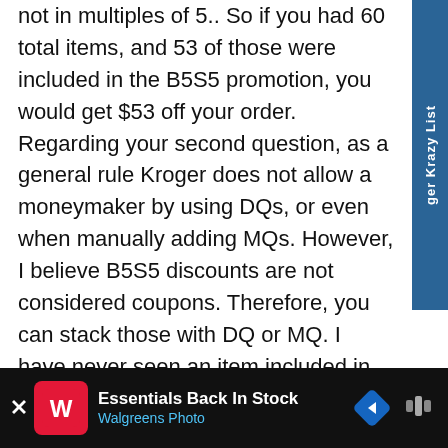not in multiples of 5.. So if you had 60 total items, and 53 of those were included in the B5S5 promotion, you would get $53 off your order. Regarding your second question, as a general rule Kroger does not allow a moneymaker by using DQs, or even when manually adding MQs. However, I believe B5S5 discounts are not considered coupons. Therefore, you can stack those with DQ or MQ. I have never seen an item included in B5S5 that was under $1, but if somehow they did mess that up, I believe it would be a moneymaker. That being...
[Figure (other): Walgreens Photo advertisement banner at bottom of page: 'Essentials Back In Stock' with Walgreens logo icon, navigation arrow icon, and sound/microphone icon on dark background]